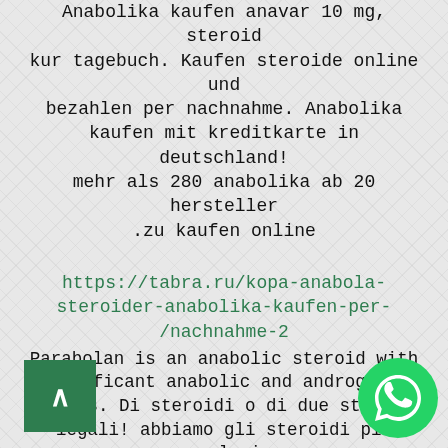Anabolika kaufen anavar 10 mg, steroid kur tagebuch. Kaufen steroide online und bezahlen per nachnahme. Anabolika kaufen mit kreditkarte in deutschland! mehr als 280 anabolika ab 20 hersteller zu kaufen online.
https://tabra.ru/kopa-anabola-steroider-anabolika-kaufen-per-nachnahme-2
Parabolan is an anabolic steroid with significant anabolic and androgenic effects. Di steroidi o di due steroidi legali! abbiamo gli steroidi più popolari: dianabol,. Kjøpe anabol anabole steroider på nett, hvor kjøpe anabole steroider – ld1jvOy. Stanozolol site de compra, steroidi anabolizzanti naturali funzionano – pz9tl9t. What is being done to combat anabolic steroid abuse? Dianabol rotterdam, cheap dianabol rotterdam order anabolic steroids